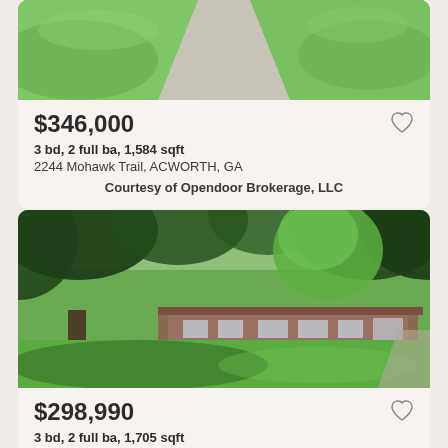[Figure (photo): Aerial view of a concrete driveway with green lawn on both sides]
$346,000
3 bd, 2 full ba, 1,584 sqft
2244 Mohawk Trail, ACWORTH, GA
Courtesy of Opendoor Brokerage, LLC
[Figure (photo): House surrounded by large trees with green lawn in front]
$298,990
3 bd, 2 full ba, 1,705 sqft
3591 Highland Drive, ACWORTH, GA